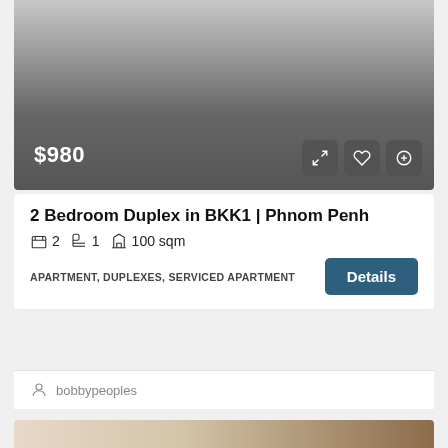[Figure (photo): Property listing photo with dark gradient overlay showing price $980 and action buttons]
2 Bedroom Duplex in BKK1 | Phnom Penh
2  1  100 sqm
APARTMENT, DUPLEXES, SERVICED APARTMENT
bobbypeoples
[Figure (photo): Interior property photo with FOR RENT badge]